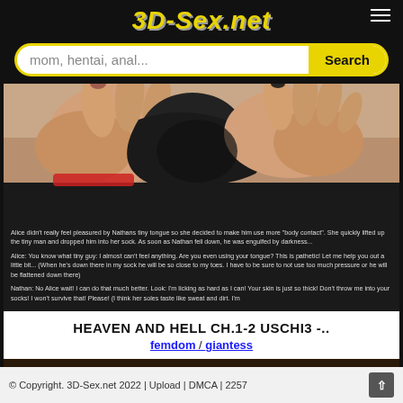3D-Sex.net
mom, hentai, anal...  Search
[Figure (illustration): 3D rendered comic image showing close-up of hands near clothing, with dark background and comic dialogue text overlay. Text reads: Alice didn't really feel pleasured by Nathans tiny tongue so she decided to make him use more "body contact". She quickly lifted up the tiny man and dropped him into her sock. As soon as Nathan fell down, he was engulfed by darkness... Alice: You know what tiny guy: I almost can't feel anything. Are you even using your tongue? This is pathetic! Let me help you out a little bit... (When he's down there in my sock he will be so close to my toes. I have to be sure to not use too much pressure or he will be flattened down there) Nathan: No Alice wait! I can do that much better. Look: I'm licking as hard as I can! Your skin is just so thick! Don't throw me into your socks! I won't survive that! Please! (I think her soles taste like sweat and dirt. I'm]
HEAVEN AND HELL CH.1-2 USCHI3 -..
femdom / giantess
[Figure (screenshot): Partially visible next content card with orange/brown tones and italic uppercase text]
© Copyright. 3D-Sex.net 2022 | Upload | DMCA | 2257